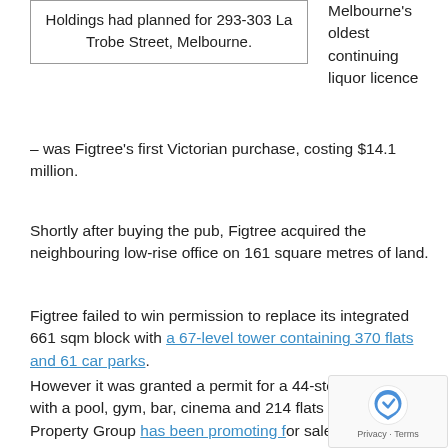Holdings had planned for 293-303 La Trobe Street, Melbourne.
Melbourne's oldest continuing liquor licence – was Figtree's first Victorian purchase, costing $14.1 million.
Shortly after buying the pub, Figtree acquired the neighbouring low-rise office on 161 square metres of land.
Figtree failed to win permission to replace its integrated 661 sqm block with a 67-level tower containing 370 flats and 61 car parks.
However it was granted a permit for a 44-storey tower with a pool, gym, bar, cinema and 214 flats which 360 Property Group has been promoting for sale.